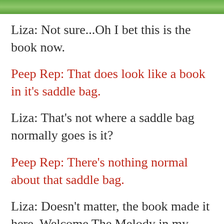[Figure (photo): Green foliage or grass image strip at the top of the page]
Liza: Not sure...Oh I bet this is the book now.
Peep Rep: That does look like a book in it's saddle bag.
Liza: That's not where a saddle bag normally goes is it?
Peep Rep: There's nothing normal about that saddle bag.
Liza: Doesn't matter, the book made it here. Welcome The Melody in my Head